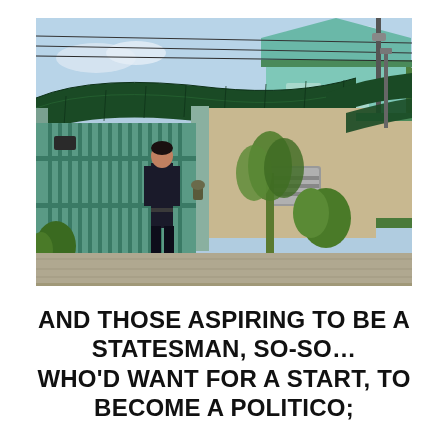[Figure (photo): Outdoor photograph of a residential property with a green corrugated roof carport/awning, a teal/mint green gate and building, a man in dark clothing standing by the gate, tropical plants and greenery, power lines overhead, and a light blue two-story house in the background.]
AND THOSE ASPIRING TO BE A STATESMAN, SO-SO… WHO'D WANT FOR A START, TO BECOME A POLITICO;